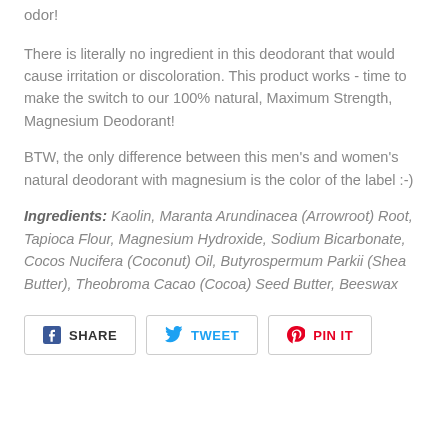odor!
There is literally no ingredient in this deodorant that would cause irritation or discoloration. This product works - time to make the switch to our 100% natural, Maximum Strength, Magnesium Deodorant!
BTW, the only difference between this men's and women's natural deodorant with magnesium is the color of the label :-)
Ingredients: Kaolin, Maranta Arundinacea (Arrowroot) Root, Tapioca Flour, Magnesium Hydroxide, Sodium Bicarbonate, Cocos Nucifera (Coconut) Oil, Butyrospermum Parkii (Shea Butter), Theobroma Cacao (Cocoa) Seed Butter, Beeswax
[Figure (infographic): Social sharing buttons: SHARE (Facebook), TWEET (Twitter), PIN IT (Pinterest)]